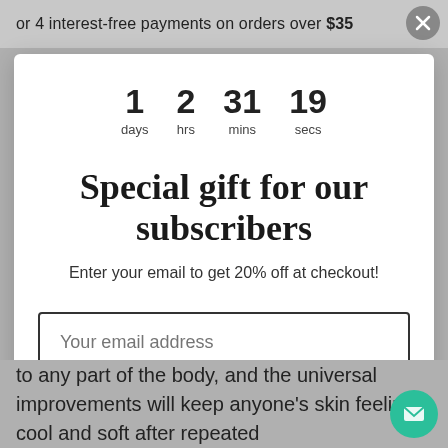or 4 interest-free payments on orders over $35
1 days  2 hrs  31 mins  19 secs
Special gift for our subscribers
Enter your email to get 20% off at checkout!
Your email address
Get my 20% oFF
to any part of the body, and the universal improvements will keep anyone's skin feeling cool and soft after repeated